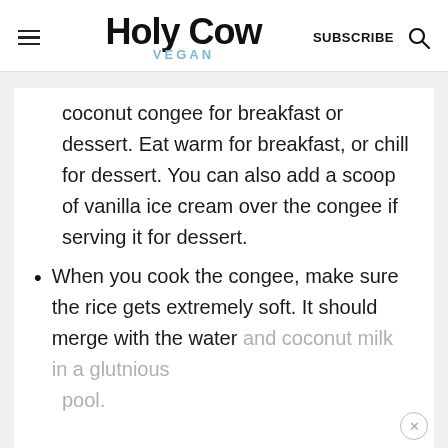Holy Cow Vegan — SUBSCRIBE
coconut congee for breakfast or dessert. Eat warm for breakfast, or chill for dessert. You can also add a scoop of vanilla ice cream over the congee if serving it for dessert.
When you cook the congee, make sure the rice gets extremely soft. It should merge with the water and coconut milk in a glutnious pool.